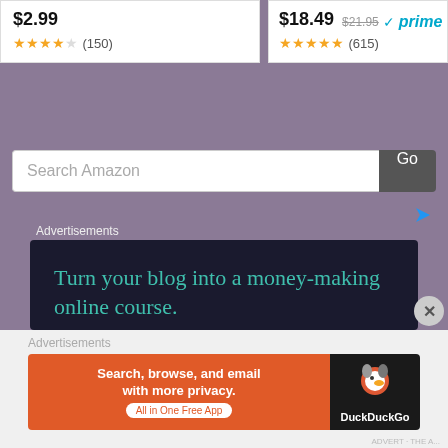$2.99 ★★★★☆ (150)
$18.49 $21.95 ✓prime ★★★★★ (615)
Search Amazon
[Figure (screenshot): Advertisement for Sensei online course platform: dark background with teal headline 'Turn your blog into a money-making online course.' and a teal 'Learn More' button, sensei logo bottom right]
Advertisements
[Figure (screenshot): DuckDuckGo advertisement: orange left panel with 'Search, browse, and email with more privacy. All in One Free App', right dark panel with DuckDuckGo duck logo and brand name]
Advertisements